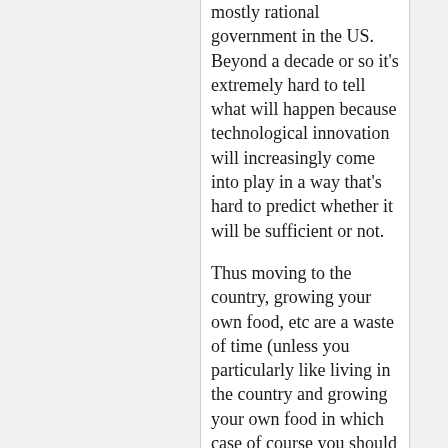mostly rational government in the US. Beyond a decade or so it's extremely hard to tell what will happen because technological innovation will increasingly come into play in a way that's hard to predict whether it will be sufficient or not.
Thus moving to the country, growing your own food, etc are a waste of time (unless you particularly like living in the country and growing your own food in which case of course you should do them).
Staying out of debt, spending less than you earn, and having a job